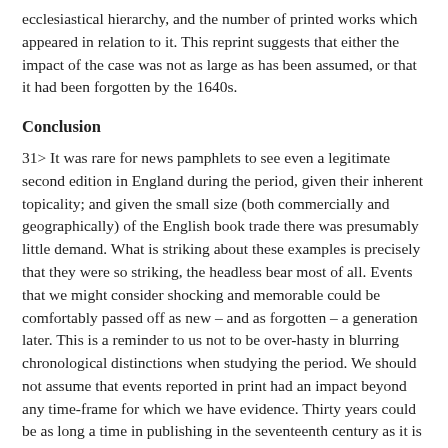ecclesiastical hierarchy, and the number of printed works which appeared in relation to it. This reprint suggests that either the impact of the case was not as large as has been assumed, or that it had been forgotten by the 1640s.
Conclusion
31> It was rare for news pamphlets to see even a legitimate second edition in England during the period, given their inherent topicality; and given the small size (both commercially and geographically) of the English book trade there was presumably little demand. What is striking about these examples is precisely that they were so striking, the headless bear most of all. Events that we might consider shocking and memorable could be comfortably passed off as new – and as forgotten – a generation later. This is a reminder to us not to be over-hasty in blurring chronological distinctions when studying the period. We should not assume that events reported in print had an impact beyond any time-frame for which we have evidence. Thirty years could be as long a time in publishing in the seventeenth century as it is now.
32> It is perhaps because such incidental, provincial news stories